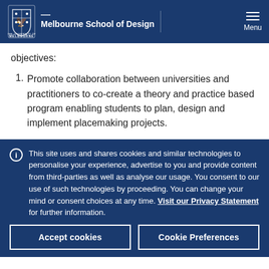Melbourne School of Design
objectives:
Promote collaboration between universities and practitioners to co-create a theory and practice based program enabling students to plan, design and implement placemaking projects.
This site uses and shares cookies and similar technologies to personalise your experience, advertise to you and provide content from third-parties as well as analyse our usage. You consent to our use of such technologies by proceeding. You can change your mind or consent choices at any time. Visit our Privacy Statement for further information.